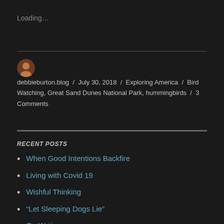Loading…
debbieburton.blog / July 30, 2018 / Exploring America / Bird Watching, Great Sand Dunes National Park, hummingbirds / 3 Comments
RECENT POSTS
When Good Intentions Backfire
Living with Covid 19
Wishful Thinking
“Let Sleeping Dogs Lie”
On Writing…